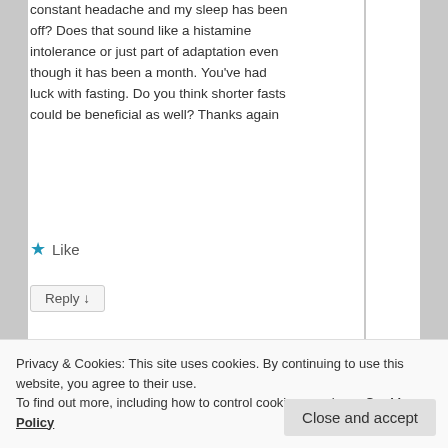constant headache and my sleep has been off? Does that sound like a histamine intolerance or just part of adaptation even though it has been a month. You've had luck with fasting. Do you think shorter fasts could be beneficial as well? Thanks again
★ Like
Reply ↓
esmeelafleur
Privacy & Cookies: This site uses cookies. By continuing to use this website, you agree to their use.
To find out more, including how to control cookies, see here: Cookie Policy
Close and accept